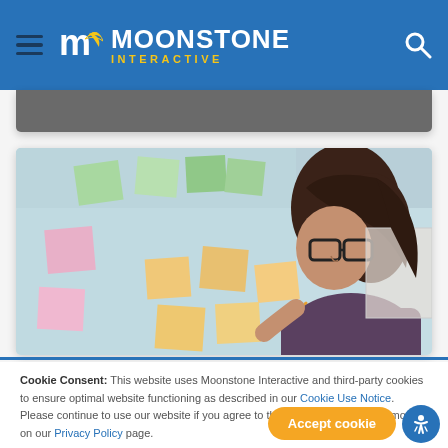Moonstone Interactive — website header with hamburger menu, logo, and search icon
[Figure (screenshot): Gray navigation bar partially visible below the main header]
[Figure (photo): Woman with dark hair and glasses writing on sticky notes on a glass wall in an office setting]
Cookie Consent: This website uses Moonstone Interactive and third-party cookies to ensure optimal website functioning as described in our Cookie Use Notice. Please continue to use our website if you agree to the use of cookies. Read more on our Privacy Policy page.